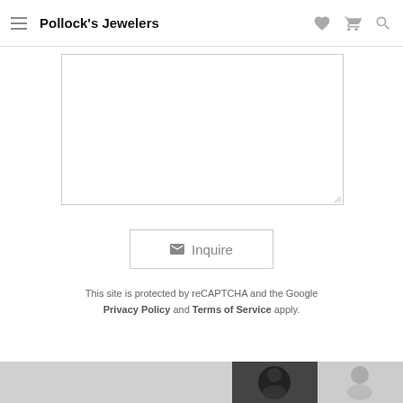Pollock's Jewelers
[Figure (screenshot): Empty textarea input box with resize handle in bottom-right corner]
[Figure (screenshot): Inquire button with envelope icon]
This site is protected by reCAPTCHA and the Google Privacy Policy and Terms of Service apply.
[Figure (photo): Bottom strip showing partial thumbnail images of people]